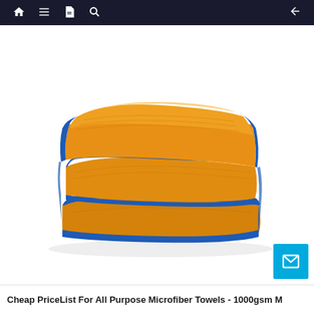Navigation bar with home, menu, document, search, and back icons
[Figure (photo): A folded orange/amber microfiber towel with blue edges, stacked neatly, photographed on a white background.]
Cheap PriceList For All Purpose Microfiber Towels - 1000gsm M